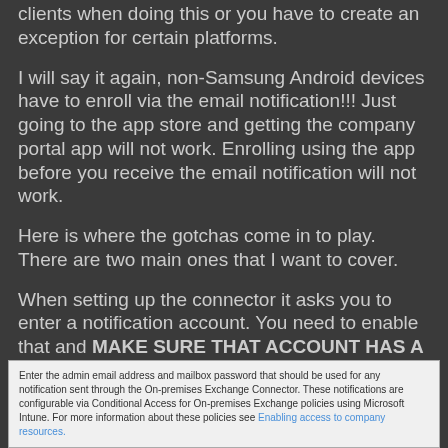clients when doing this or you have to create an exception for certain platforms.
I will say it again, non-Samsung Android devices have to enroll via the email notification!!! Just going to the app store and getting the company portal app will not work. Enrolling using the app before you receive the email notification will not work.
Here is where the gotchas come in to play. There are two main ones that I want to cover.
When setting up the connector it asks you to enter a notification account. You need to enable that and MAKE SURE THAT ACCOUNT HAS A MAILBOX!
Enter the admin email address and mailbox password that should be used for any notification sent through the On-premises Exchange Connector. These notifications are configurable via Conditional Access for On-premises Exchange policies using Microsoft Intune. For more information about these policies see Enabling access to company resources.